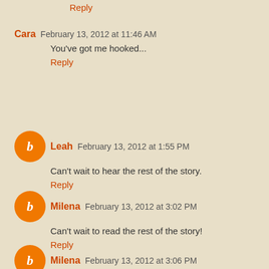Reply
Cara  February 13, 2012 at 11:46 AM
You've got me hooked...
Reply
Leah  February 13, 2012 at 1:55 PM
Can't wait to hear the rest of the story.
Reply
Milena  February 13, 2012 at 3:02 PM
Can't wait to read the rest of the story!
Reply
Milena  February 13, 2012 at 3:06 PM
They later didn't know the first time I saw the...